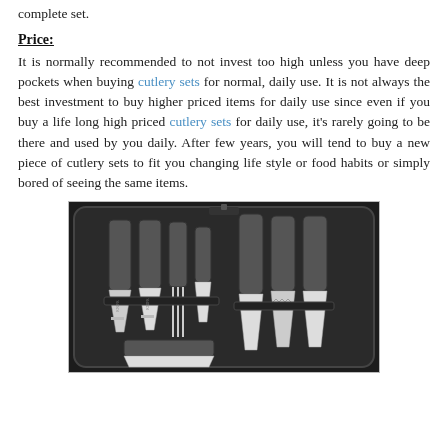complete set.
Price:
It is normally recommended to not invest too high unless you have deep pockets when buying cutlery sets for normal, daily use. It is not always the best investment to buy higher priced items for daily use since even if you buy a life long high priced cutlery sets for daily use, it's rarely going to be there and used by you daily. After few years, you will tend to buy a new piece of cutlery sets to fit you changing life style or food habits or simply bored of seeing the same items.
[Figure (photo): A black knife roll/case open and displaying a set of kitchen knives with grey handles arranged in slots on both sides of the case.]